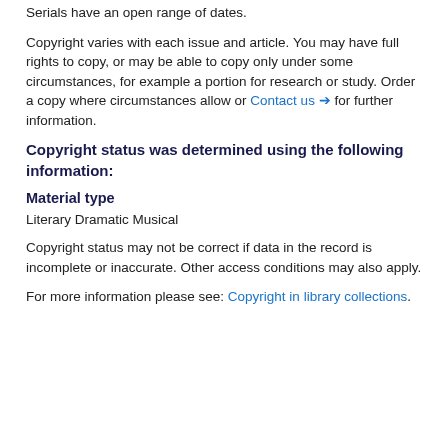Serials have an open range of dates.
Copyright varies with each issue and article. You may have full rights to copy, or may be able to copy only under some circumstances, for example a portion for research or study. Order a copy where circumstances allow or Contact us ➔ for further information.
Copyright status was determined using the following information:
Material type
Literary Dramatic Musical
Copyright status may not be correct if data in the record is incomplete or inaccurate. Other access conditions may also apply.
For more information please see: Copyright in library collections.